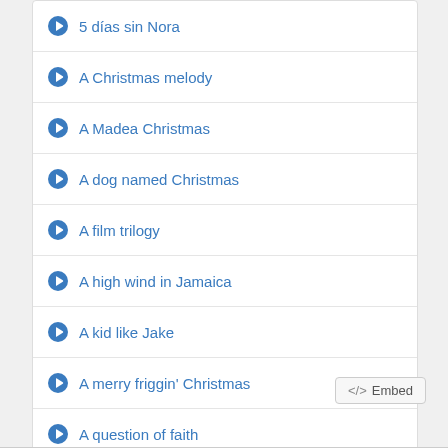5 días sin Nora
A Christmas melody
A Madea Christmas
A dog named Christmas
A film trilogy
A high wind in Jamaica
A kid like Jake
A merry friggin' Christmas
A question of faith
</> Embed